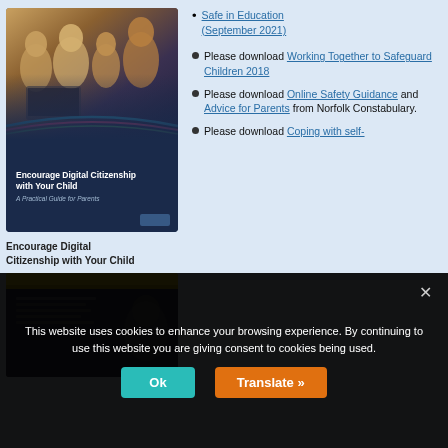Please download Safe in Education (September 2021)
Please download Working Together to Safeguard Children 2018
[Figure (photo): Book cover: Encourage Digital Citizenship with Your Child - A Practical Guide for Parents, showing a family laughing together with a laptop]
Encourage Digital Citizenship with Your Child
[Figure (photo): Second document/resource image with yellow header]
Please download Online Safety Guidance and Advice for Parents from Norfolk Constabulary.
Please download Coping with self-
This website uses cookies to enhance your browsing experience. By continuing to use this website you are giving consent to cookies being used.